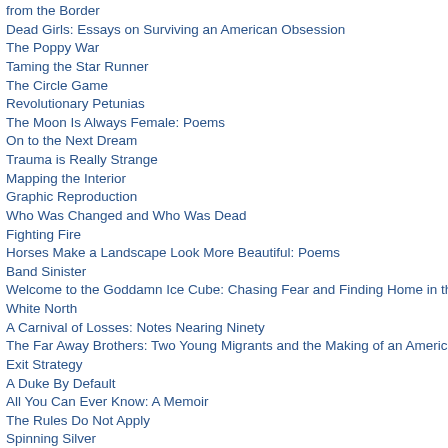from the Border
Dead Girls: Essays on Surviving an American Obsession
The Poppy War
Taming the Star Runner
The Circle Game
Revolutionary Petunias
The Moon Is Always Female: Poems
On to the Next Dream
Trauma is Really Strange
Mapping the Interior
Graphic Reproduction
Who Was Changed and Who Was Dead
Fighting Fire
Horses Make a Landscape Look More Beautiful: Poems
Band Sinister
Welcome to the Goddamn Ice Cube: Chasing Fear and Finding Home in the Great White North
A Carnival of Losses: Notes Nearing Ninety
The Far Away Brothers: Two Young Migrants and the Making of an American Life
Exit Strategy
A Duke By Default
All You Can Ever Know: A Memoir
The Rules Do Not Apply
Spinning Silver
Ghetto Cowboy
Through the Shadowlands: A Science Writer's Odyssey into an Illness Science Doesn't Understand
The Juniper Tree
The Fact of a Body: A Murder and a Memoir
You All Grow Up and Leave Me: A